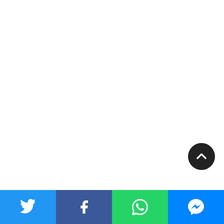MONUC Force Commander Visits Katanga Brigade Phot: United Nations Photo/Flickr
What was missing was the development of a Congolese government that was stable enough to fill the vacuum of power that had come to exist. When the Belgians pulled out in 1960, they had grappled with the country for more than half a century but had done’ almost nothing to prepare it for independence. Primary education was widespread, but there was only a handful of university graduates; copper and